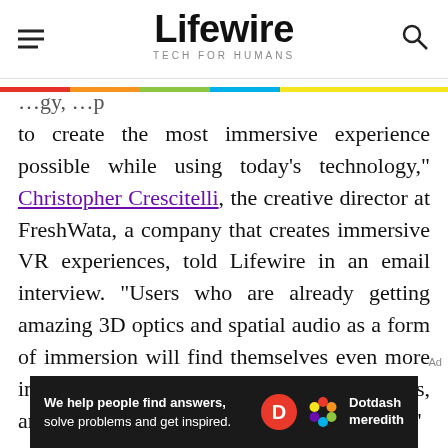Lifewire — TECH FOR HUMANS
...py, ...p to create the most immersive experience possible while using today's technology," Christopher Crescitelli, the creative director at FreshWata, a company that creates immersive VR experiences, told Lifewire in an email interview. "Users who are already getting amazing 3D optics and spatial audio as a form of immersion will find themselves even more immersed when adding haptic gloves, vests, and other toolsets to their metaverse journey."
[Figure (logo): Dotdash Meredith advertisement banner: 'We help people find answers, solve problems and get inspired.']